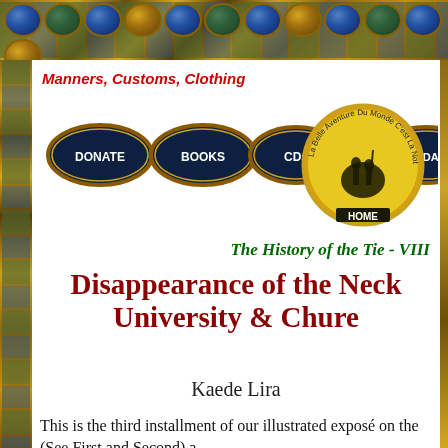[Figure (illustration): Decorative top border with gemstone mosaic pattern in gold, green, blue tones]
Manners, Customs, Clothing
[Figure (illustration): Navigation buttons: DONATE, BOOKS, CDs, UPDATE (oval blue buttons with gold border) and circular HOME logo with knights on horseback inscription 'La Belle Aventure Du Monde C'est La Notre']
The History of the Tie - VIII
Disappearance of the Neck... University & Chure...
Kaede Lira
This is the third installment of our illustrated exposé on the (See First and Second) a